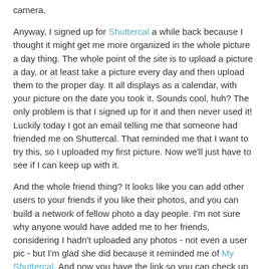camera.
Anyway, I signed up for Shuttercal a while back because I thought it might get me more organized in the whole picture a day thing. The whole point of the site is to upload a picture a day, or at least take a picture every day and then upload them to the proper day. It all displays as a calendar, with your picture on the date you took it. Sounds cool, huh? The only problem is that I signed up for it and then never used it! Luckily today I got an email telling me that someone had friended me on Shuttercal. That reminded me that I want to try this, so I uploaded my first picture. Now we'll just have to see if I can keep up with it.
And the whole friend thing? It looks like you can add other users to your friends if you like their photos, and you can build a network of fellow photo a day people. I'm not sure why anyone would have added me to her friends, considering I hadn't uploaded any photos - not even a user pic - but I'm glad she did because it reminded me of My Shuttercal. And now you have the link so you can check up on me and see if I'm uploading any photos.